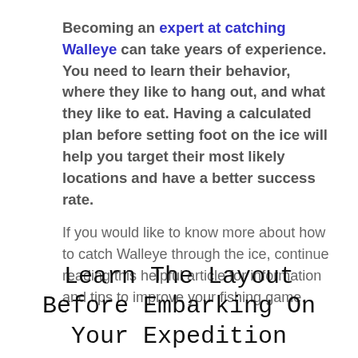Becoming an expert at catching Walleye can take years of experience. You need to learn their behavior, where they like to hang out, and what they like to eat. Having a calculated plan before setting foot on the ice will help you target their most likely locations and have a better success rate.
If you would like to know more about how to catch Walleye through the ice, continue reading this helpful article for information and tips to improve your fishing game.
Learn The Layout Before Embarking On Your Expedition